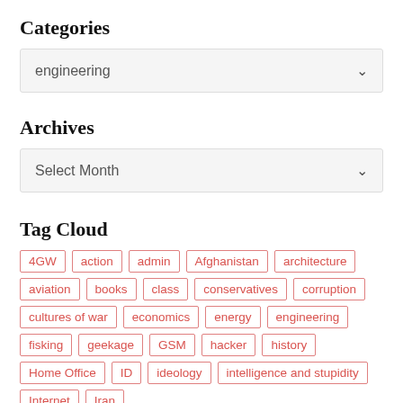Categories
[Figure (screenshot): Dropdown selector showing 'engineering' with a down-arrow chevron, light gray background]
Archives
[Figure (screenshot): Dropdown selector showing 'Select Month' with a down-arrow chevron, light gray background]
Tag Cloud
4GW
action
admin
Afghanistan
architecture
aviation
books
class
conservatives
corruption
cultures of war
economics
energy
engineering
fisking
geekage
GSM
hacker
history
Home Office
ID
ideology
intelligence and stupidity
Internet
Iran